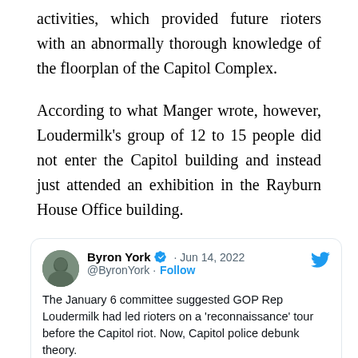activities, which provided future rioters with an abnormally thorough knowledge of the floorplan of the Capitol Complex.
According to what Manger wrote, however, Loudermilk's group of 12 to 15 people did not enter the Capitol building and instead just attended an exhibition in the Rayburn House Office building.
[Figure (screenshot): Embedded tweet from Byron York (@ByronYork), verified account, dated Jun 14, 2022. Text: 'The January 6 committee suggested GOP Rep Loudermilk had led rioters on a reconnaissance tour before the Capitol riot. Now, Capitol police debunk theory.' Includes Follow button and Twitter bird logo.]